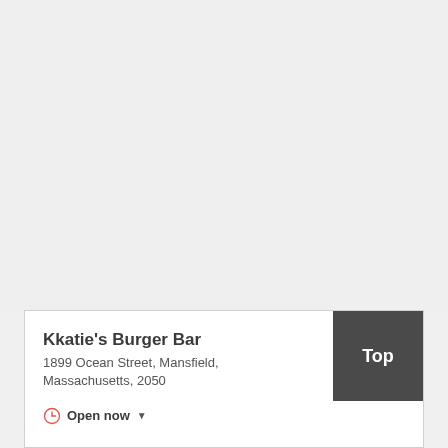[Figure (map): Map background area, light gray, showing no specific map content visible]
Kkatie's Burger Bar
1899 Ocean Street, Mansfield, Massachusetts, 2050
Open now
[Figure (other): Dark gray 'Top' button in upper right corner of the info card]